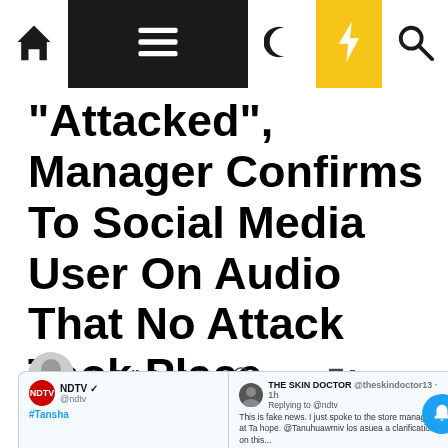Navigation bar with home, menu, moon, bolt, and search icons
“Attacked”, Manager Confirms To Social Media User On Audio That No Attack Took Place
The Daily Switch Team  2 years ago  5
[Figure (screenshot): Tweet preview showing NDTV tweet and The Skin Doctor reply about a store manager]